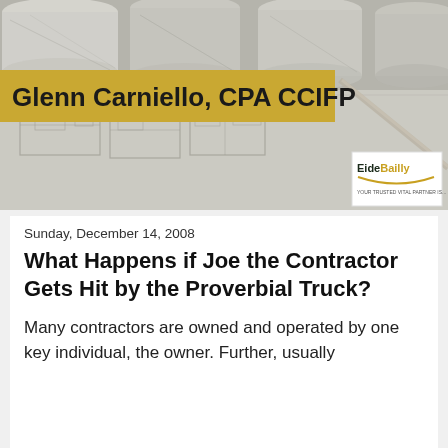[Figure (photo): Banner image showing rolled architectural blueprints at the top and blueprint floor plans below, with a gold/yellow bar overlay containing the author name 'Glenn Carniello, CPA CCIFP', and an EideBailly logo in the bottom right corner of the banner.]
Sunday, December 14, 2008
What Happens if Joe the Contractor Gets Hit by the Proverbial Truck?
Many contractors are owned and operated by one key individual, the owner. Further, usually